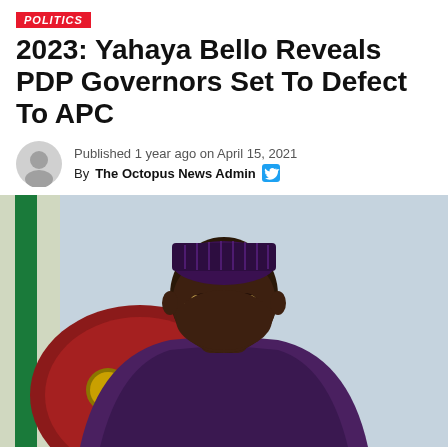POLITICS
2023: Yahaya Bello Reveals PDP Governors Set To Defect To APC
Published 1 year ago on April 15, 2021
By The Octopus News Admin
[Figure (photo): Portrait of Yahaya Bello seated in a red leather chair, wearing a dark purple traditional attire and a dark embroidered cap, with glasses, a Nigerian flag visible in the background.]